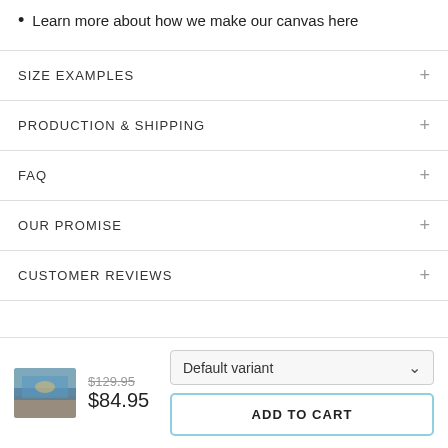Learn more about how we make our canvas here
SIZE EXAMPLES
PRODUCTION & SHIPPING
FAQ
OUR PROMISE
CUSTOMER REVIEWS
$129.95  $84.95  Default variant  ADD TO CART